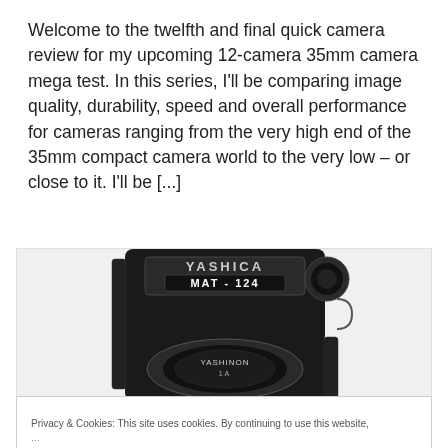Welcome to the twelfth and final quick camera review for my upcoming 12-camera 35mm camera mega test. In this series, I'll be comparing image quality, durability, speed and overall performance for cameras ranging from the very high end of the 35mm compact camera world to the very low – or close to it. I'll be [...]
[Figure (photo): Close-up black and white photograph of a Yashica MAT-124 twin-lens reflex camera, showing the top portion with 'MAT-124' label and the lower lens area with 'YASHINON 1A' text.]
Privacy & Cookies: This site uses cookies. By continuing to use this website,